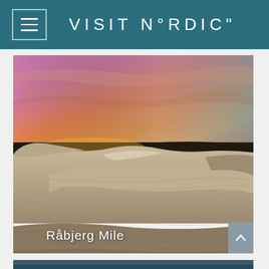VISIT N°RDIC"
[Figure (photo): Sand dunes with dramatic sunset sky in orange, pink, and purple tones over flat dark horizon. Sandy rippled dunes fill the foreground. Caption 'Råbjerg Mile' overlaid at bottom.]
Råbjerg Mile
[Figure (photo): Partial view of a second photo at the bottom of the page, showing dark water or landscape in teal/blue tones.]